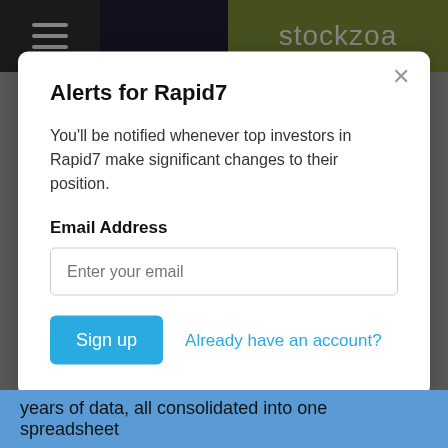stockzoa
Who owns Rapid7?
Alerts for Rapid7
You'll be notified whenever top investors in Rapid7 make significant changes to their position.
Email Address
Enter your email
Sign up
Already have an account?
years of data, all consolidated into one spreadsheet